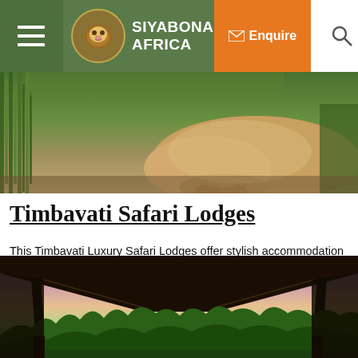Siyabona Africa - Navigation bar with menu, logo, Enquire button, and search
[Figure (photo): Close-up photo of a lion resting in grass]
Timbavati Safari Lodges
This Timbavati Luxury Safari Lodges offer stylish accommodation while Classic Safari Lodges offer an authentic experience. Other safari lodge styles include Romantic at Heart, Family Gems and Step Back in Time, for a nostalgic Out of Africa safari.
[Figure (photo): View through a safari tent frame showing a sunset sky with trees in the background]